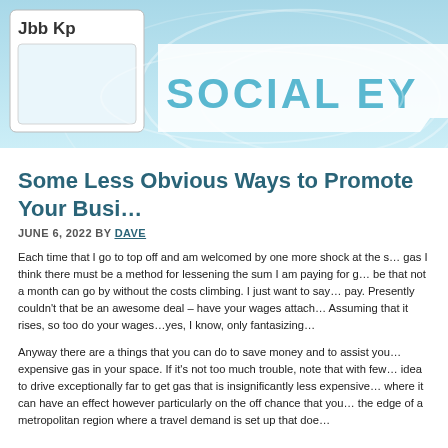[Figure (screenshot): Website header banner with light blue gradient background, swirl decorations, a white logo box in top-left containing 'Jbb Kp' text, and a white speech-bubble style banner on the right showing 'SOCIAL EY' in large teal letters (text cut off).]
Some Less Obvious Ways to Promote Your Busi…
JUNE 6, 2022 BY DAVE
Each time that I go to top off and am welcomed by one more shock at the s… gas I think there must be a method for lessening the sum I am paying for g… be that not a month can go by without the costs climbing. I just want to say… pay. Presently couldn’t that be an awesome deal – have your wages attach… Assuming that it rises, so too do your wages…yes, I know, only fantasizing…
Anyway there are a things that you can do to save money and to assist you… expensive gas in your space. If it’s not too much trouble, note that with few… idea to drive exceptionally far to get gas that is insignificantly less expensive… where it can have an effect however particularly on the off chance that you… the edge of a metropolitan region where a travel demand is set up that doe…